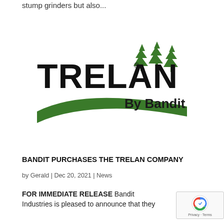stump grinders but also...
[Figure (logo): TRELAN by Bandit logo — bold black TRELAN text with registered trademark symbol, three green stylized pine trees to the right, a green swoosh/ribbon element below, and 'By Bandit' text in dark color at lower right]
BANDIT PURCHASES THE TRELAN COMPANY
by Gerald | Dec 20, 2021 | News
FOR IMMEDIATE RELEASE Bandit Industries is pleased to announce that they